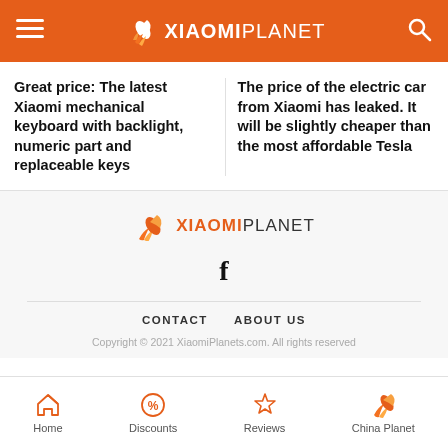XIAOMI PLANET
Great price: The latest Xiaomi mechanical keyboard with backlight, numeric part and replaceable keys
The price of the electric car from Xiaomi has leaked. It will be slightly cheaper than the most affordable Tesla
[Figure (logo): XiaomiPlanet logo with rocket icon in orange and grey text]
f
CONTACT    ABOUT US
Copyright © 2021 XiaomiPlanets.com. All rights reserved
Home  Discounts  Reviews  China Planet